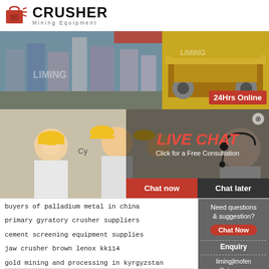[Figure (logo): Crusher Mining Equipment logo with red shopping bag icon and bold text]
[Figure (photo): Industrial plant/factory with grey equipment and silos - Liming branded]
[Figure (photo): Yellow mining/crushing equipment on a frame - Liming branded]
[Figure (photo): Live Chat popup overlay with workers in hard hats, red LIVE CHAT text, Chat now and Chat later buttons, 24Hrs Online badge]
buyers of palladium metal in china
primary gyratory crusher suppliers
cement screening equipment supplies
jaw crusher brown lenox kk114
gold mining and processing in kyrgyzstan
Need questions & suggestion?
Chat Now
Enquiry
limingjlmofen@sina.com